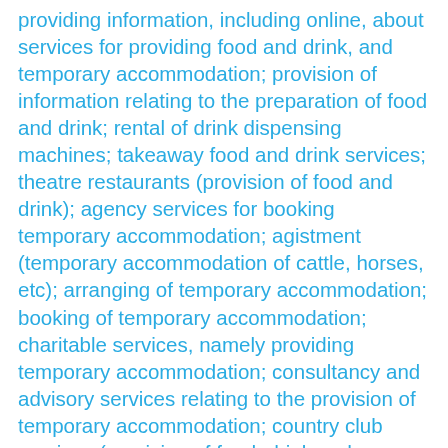providing information, including online, about services for providing food and drink, and temporary accommodation; provision of information relating to the preparation of food and drink; rental of drink dispensing machines; takeaway food and drink services; theatre restaurants (provision of food and drink); agency services for booking temporary accommodation; agistment (temporary accommodation of cattle, horses, etc); arranging of temporary accommodation; booking of temporary accommodation; charitable services, namely providing temporary accommodation; consultancy and advisory services relating to the provision of temporary accommodation; country club services (provision of food, drink and temporary accommodation); holiday camp services (temporary accommodation); information services relating to the provision of temporary accommodation; providing information, including online, about services for providing food and drink, and temporary accommodation; providing temporary accommodation; provision of temporary